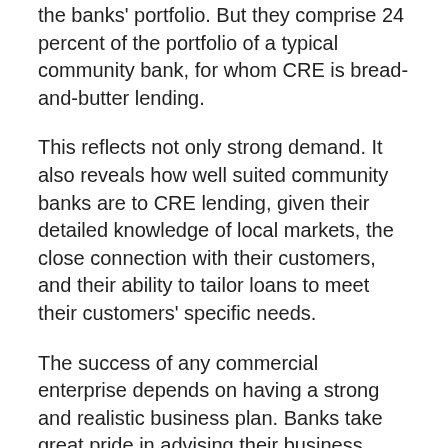the banks' portfolio. But they comprise 24 percent of the portfolio of a typical community bank, for whom CRE is bread-and-butter lending.
This reflects not only strong demand. It also reveals how well suited community banks are to CRE lending, given their detailed knowledge of local markets, the close connection with their customers, and their ability to tailor loans to meet their customers' specific needs.
The success of any commercial enterprise depends on having a strong and realistic business plan. Banks take great pride in advising their business customers about such plans, providing the kind of personalized service that is so important in business lending.
Funding commercial real estate projects is among the many ways that banks help their customers and communities grow and thrive – provided, of course, that the loans are